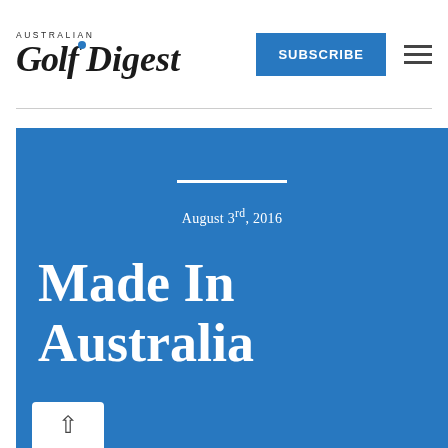AUSTRALIAN Golf Digest — SUBSCRIBE
August 3rd, 2016
Made In Australia